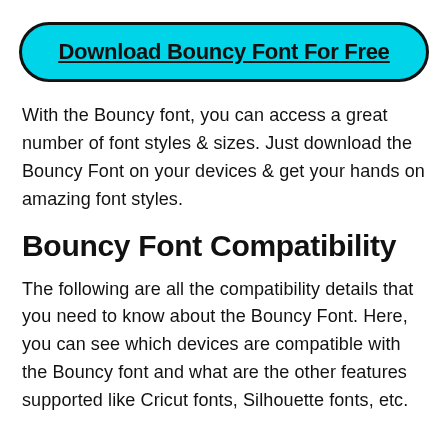Download Bouncy Font For Free
With the Bouncy font, you can access a great number of font styles & sizes. Just download the Bouncy Font on your devices & get your hands on amazing font styles.
Bouncy Font Compatibility
The following are all the compatibility details that you need to know about the Bouncy Font. Here, you can see which devices are compatible with the Bouncy font and what are the other features supported like Cricut fonts, Silhouette fonts, etc.